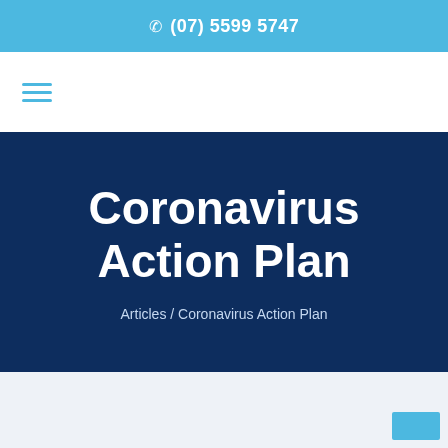(07) 5599 5747
[Figure (other): Hamburger menu icon (three horizontal lines)]
Coronavirus Action Plan
Articles / Coronavirus Action Plan